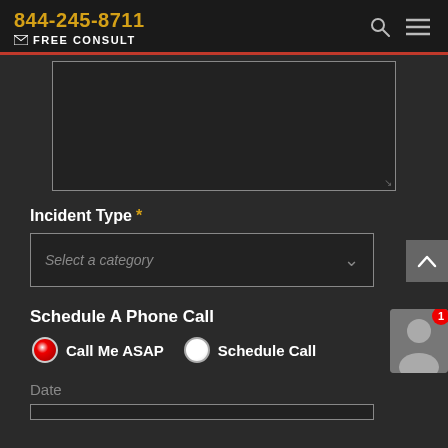844-245-8711  FREE CONSULT
[Figure (screenshot): Dark web form UI with textarea, incident type dropdown, schedule a phone call radio buttons, and date field. Header shows phone number 844-245-8711 and FREE CONSULT link on dark background.]
Incident Type *
Select a category
Schedule A Phone Call
Call Me ASAP   Schedule Call
Date